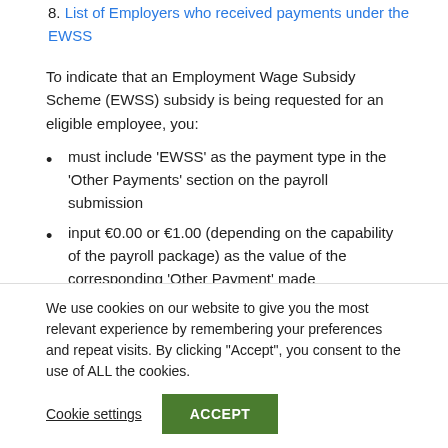8. List of Employers who received payments under the EWSS
To indicate that an Employment Wage Subsidy Scheme (EWSS) subsidy is being requested for an eligible employee, you:
must include 'EWSS' as the payment type in the 'Other Payments' section on the payroll submission
input €0.00 or €1.00 (depending on the capability of the payroll package) as the value of the corresponding 'Other Payment' made
must not include the EWSS 'Other Payment' details on the
We use cookies on our website to give you the most relevant experience by remembering your preferences and repeat visits. By clicking "Accept", you consent to the use of ALL the cookies.
Cookie settings | ACCEPT